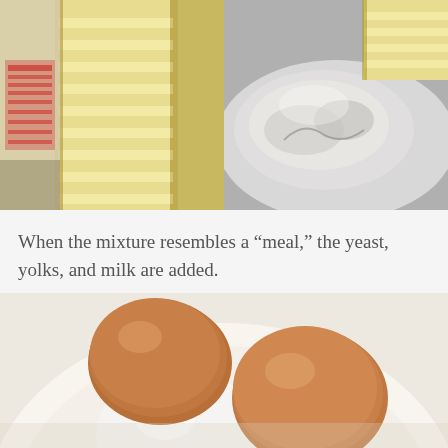[Figure (photo): Two food ingredient photos side by side: left shows sliced butter sticks with packaging visible; right shows flour/powder with butter pieces.]
When the mixture resembles a “meal,” the yeast, yolks, and milk are added.
[Figure (photo): Three eggs (two brown, one white) arranged on a white plate, viewed from above.]